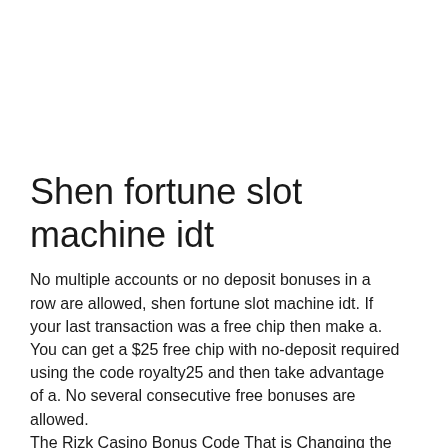Shen fortune slot machine idt
No multiple accounts or no deposit bonuses in a row are allowed, shen fortune slot machine idt. If your last transaction was a free chip then make a. You can get a $25 free chip with no-deposit required using the code royalty25 and then take advantage of a. No several consecutive free bonuses are allowed.
The Rizk Casino Bonus Code That is Changing the Game, shen fortune slot machine idt.